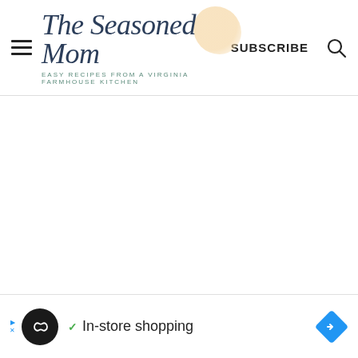The Seasoned Mom — EASY RECIPES FROM A VIRGINIA FARMHOUSE KITCHEN — SUBSCRIBE
[Figure (screenshot): Large blank white content area below the header, representing a loading or empty page section]
[Figure (infographic): Advertisement bar at bottom: circular dark logo with infinity symbol, checkmark, text 'In-store shopping', blue diamond arrow icon on right. Ad label with play triangle and X on left.]